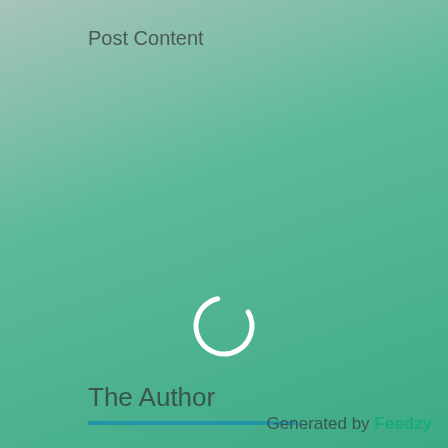Post Content
[Figure (other): A white circular loading spinner icon centered on the gradient background]
The Author
Read more posts from
Generated by Feedzy